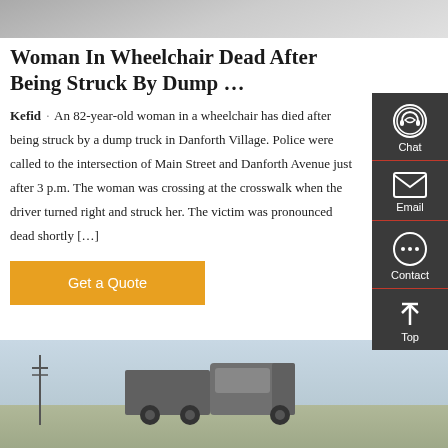[Figure (photo): Top portion of a vehicle or road scene, light gray tones]
Woman In Wheelchair Dead After Being Struck By Dump …
Kefid · An 82-year-old woman in a wheelchair has died after being struck by a dump truck in Danforth Village. Police were called to the intersection of Main Street and Danforth Avenue just after 3 p.m. The woman was crossing at the crosswalk when the driver turned right and struck her. The victim was pronounced dead shortly […]
[Figure (other): Orange 'Get a Quote' call-to-action button]
[Figure (photo): Photograph of a large commercial truck (dump/semi truck) against a sky background with hay bales on the right]
[Figure (infographic): Dark gray sidebar with Chat, Email, Contact, and Top navigation icons]